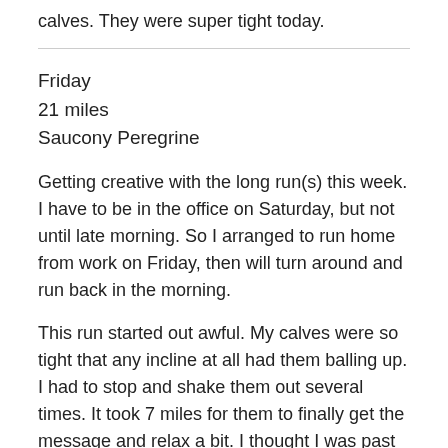calves. They were super tight today.
Friday
21 miles
Saucony Peregrine
Getting creative with the long run(s) this week. I have to be in the office on Saturday, but not until late morning. So I arranged to run home from work on Friday, then will turn around and run back in the morning.
This run started out awful. My calves were so tight that any incline at all had them balling up. I had to stop and shake them out several times. It took 7 miles for them to finally get the message and relax a bit. I thought I was past most of these calf/heel issues, but I guess Tuesday's hilly tempo must have uncovered some latent soreness